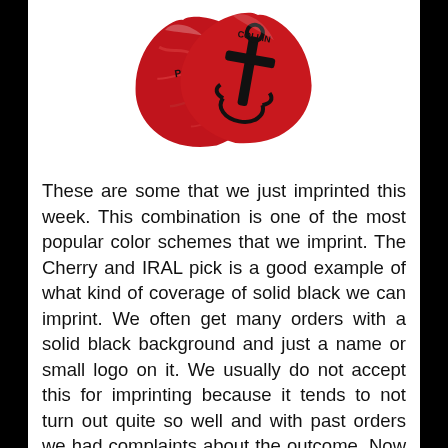[Figure (photo): Two red guitar picks partially overlapping on a white background. The left pick has a marbled/pearlescent texture with text, the right pick has a cross/anchor logo imprinted in black.]
These are some that we just imprinted this week. This combination is one of the most popular color schemes that we imprint. The Cherry and IRAL pick is a good example of what kind of coverage of solid black we can imprint. We often get many orders with a solid black background and just a name or small logo on it. We usually do not accept this for imprinting because it tends to not turn out quite so well and with past orders we had complaints about the outcome. Now we recommend that you do not imprint the pick with more then 50% coverage of a single solid